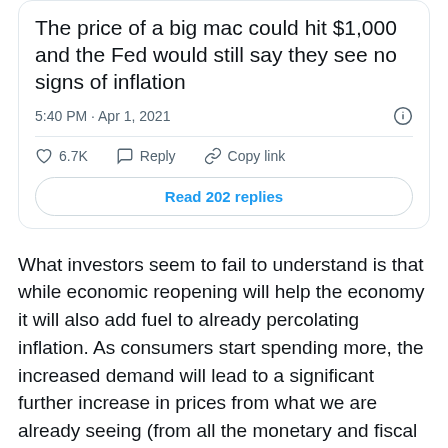[Figure (screenshot): Twitter/X tweet screenshot showing the text 'The price of a big mac could hit $1,000 and the Fed would still say they see no signs of inflation', posted at 5:40 PM · Apr 1, 2021, with 6.7K likes, Reply and Copy link actions, and a 'Read 202 replies' button.]
What investors seem to fail to understand is that while economic reopening will help the economy it will also add fuel to already percolating inflation. As consumers start spending more, the increased demand will lead to a significant further increase in prices from what we are already seeing (from all the monetary and fiscal stimulus and the beginning of economic reopening).